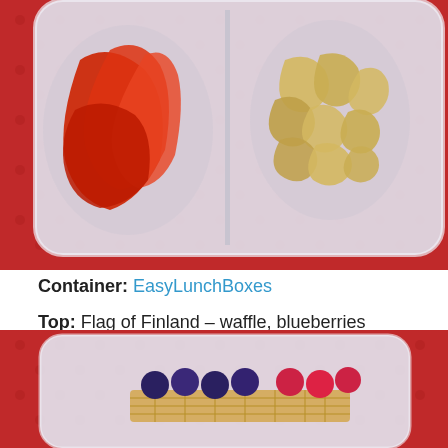[Figure (photo): Top-down photo of a divided plastic lunch container (EasyLunchBoxes) on a red polka-dot background. Bottom-left compartment contains sliced red bell pepper; bottom-right compartment contains cashews.]
Container: EasyLunchBoxes
Top: Flag of Finland – waffle, blueberries
Bottom Left: Red bell pepper
Bottom Right: Cashews
[Figure (photo): Top-down photo of a single-compartment plastic container (EasyLunchBoxes) on a red polka-dot background, containing a waffle strip topped with blueberries and raspberries arranged to resemble the Finnish flag.]